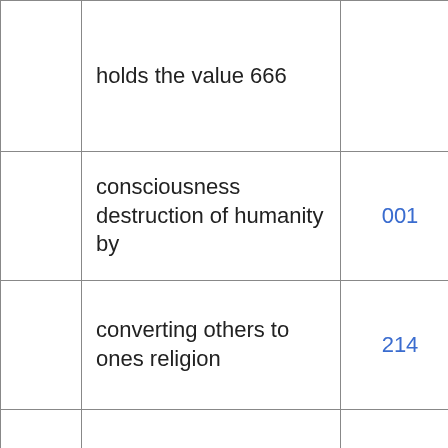|  | holds the value 666 |  |  |
|  | consciousness destruction of humanity by | 001 | 45 |
|  | converting others to ones religion | 214 | 85* |
|  | creative barrier | 010 | 164 |
|  | crimes against Earth humanity and non-terrestrial | 136 | 169 |